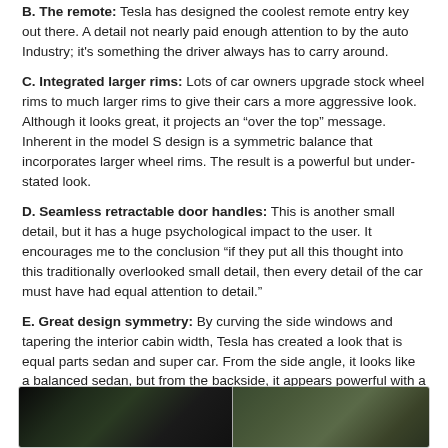B. The remote: Tesla has designed the coolest remote entry key out there. A detail not nearly paid enough attention to by the auto Industry; it's something the driver always has to carry around.
C. Integrated larger rims: Lots of car owners upgrade stock wheel rims to much larger rims to give their cars a more aggressive look. Although it looks great, it projects an “over the top” message. Inherent in the model S design is a symmetric balance that incorporates larger wheel rims. The result is a powerful but under-stated look.
D. Seamless retractable door handles: This is another small detail, but it has a huge psychological impact to the user. It encourages me to the conclusion “if they put all this thought into this traditionally overlooked small detail, then every detail of the car must have had equal attention to detail.”
E. Great design symmetry: By curving the side windows and tapering the interior cabin width, Tesla has created a look that is equal parts sedan and super car. From the side angle, it looks like a balanced sedan, but from the backside, it appears powerful with a low center of gravity more characteristic of a super-car. Again, they have managed to do this while maintaining an under-stated image.
[Figure (photo): Two photographs at the bottom of the page showing car details, partially visible]